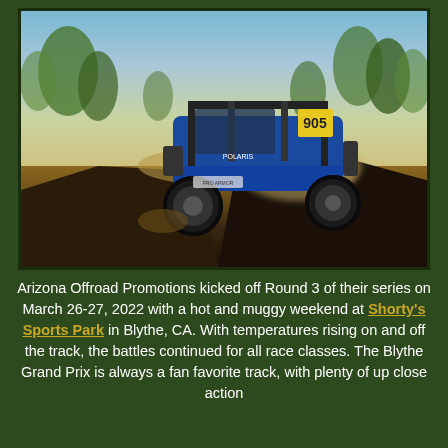[Figure (photo): A blue off-road UTV/side-by-side vehicle with roll cage and number 905 racing over a dirt mound, kicking up dust, with scrubby desert vegetation in the background.]
Arizona Offroad Promotions kicked off Round 3 of their series on March 26-27, 2022 with a hot and muggy weekend at Shorty's Sports Park in Blythe, CA. With temperatures rising on and off the track, the battles continued for all race classes. The Blythe Grand Prix is always a fan favorite track, with plenty of up close action